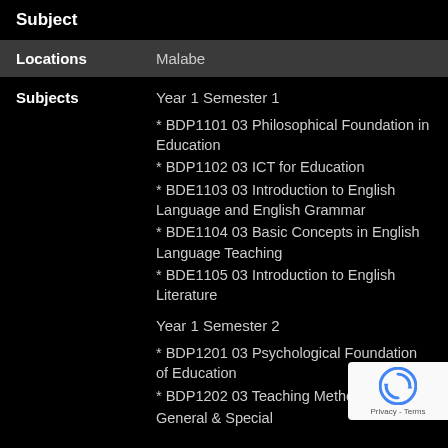Subject
| Locations | Malabe |
| --- | --- |
Year 1 Semester 1
* BDP1101 03 Philosophical Foundation in Education
* BDP1102 03 ICT for Education
* BDE1103 03 Introduction to English Language and English Grammar
* BDE1104 03 Basic Concepts in English Language Teaching
* BDE1105 03 Introduction to English Literature
Year 1 Semester 2
* BDP1201 03 Psychological Foundation of Education
* BDP1202 03 Teaching Methods General & Special